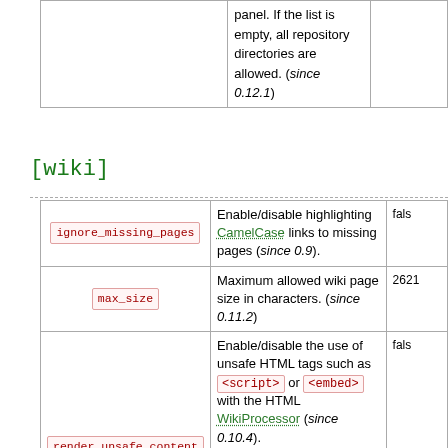|  |  |  |
| --- | --- | --- |
|  | panel. If the list is empty, all repository directories are allowed. (since 0.12.1) |  |
[wiki]
|  |  |  |
| --- | --- | --- |
| ignore_missing_pages | Enable/disable highlighting CamelCase links to missing pages (since 0.9). | fals |
| max_size | Maximum allowed wiki page size in characters. (since 0.11.2) | 2621 |
| render_unsafe_content | Enable/disable the use of unsafe HTML tags such as <script> or <embed> with the HTML WikiProcessor (since 0.10.4).

For public sites where anonymous users can edit the wiki it is recommended to leave this option disabled (which is the default). | fals |
|  | List of URIs considered "safe cross-origin", that will be |  |